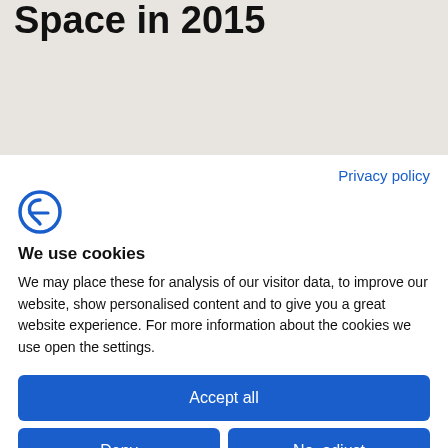Space in 2015
Privacy policy
[Figure (logo): Blue stylized letter F logo (Frontiers or similar brand)]
We use cookies
We may place these for analysis of our visitor data, to improve our website, show personalised content and to give you a great website experience. For more information about the cookies we use open the settings.
Accept all
Deny
No, adjust